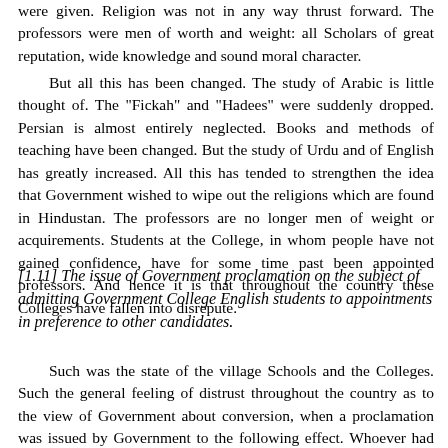were given. Religion was not in any way thrust forward. The professors were men of worth and weight: all Scholars of great reputation, wide knowledge and sound moral character.
But all this has been changed. The study of Arabic is little thought of. The "Fickah" and "Hadees" were suddenly dropped. Persian is almost entirely neglected. Books and methods of teaching have been changed. But the study of Urdu and of English has greatly increased. All this has tended to strengthen the idea that Government wished to wipe out the religions which are found in Hindustan. The professors are no longer men of weight or acquirements. Students at the College, in whom people have not gained confidence, have for some time past been appointed professors. And hence it is that throughout the country these Colleges have fallen into disrepute.
[1.11] The issue of Government proclamation on the subject of admitting Government College English students to appointments in preference to other candidates.
Such was the state of the village Schools and the Colleges. Such the general feeling of distrust throughout the country as to the view of Government about conversion, when a proclamation was issued by Government to the following effect. Whoever had studied and passed an examination in certain Sciences, and in the English